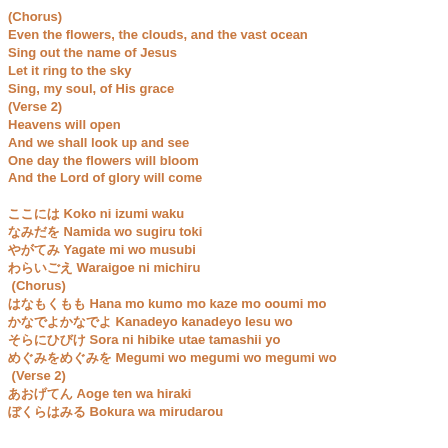(Chorus)
Even the flowers, the clouds, and the vast ocean
Sing out the name of Jesus
Let it ring to the sky
Sing, my soul, of His grace
(Verse 2)
Heavens will open
And we shall look up and see
One day the flowers will bloom
And the Lord of glory will come
ここには Koko ni izumi waku
なみだを Namida wo sugiru toki
やがてみ Yagate mi wo musubi
わらいごえ Waraigoe ni michiru
(Chorus)
はなもくもも Hana mo kumo mo kaze mo ooumi mo
かなでよかなでよ Kanadeyo kanadeyo Iesu wo
そらにひびけ Sora ni hibike utae tamashii yo
めぐみをめぐみを Megumi wo megumi wo megumi wo
(Verse 2)
あおげてん Aoge ten wa hiraki
ぼくらはみる Bokura wa mirudarou